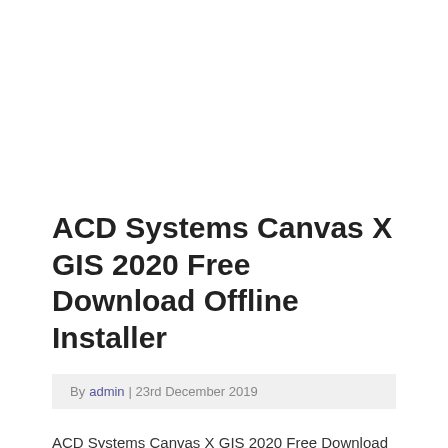ACD Systems Canvas X GIS 2020 Free Download Offline Installer
By admin | 23rd December 2019
ACD Systems Canvas X GIS 2020 Free Download Offline Installer for Windows based 64-bit. Setup file is completely standalone and also its an offline installer. This powerful